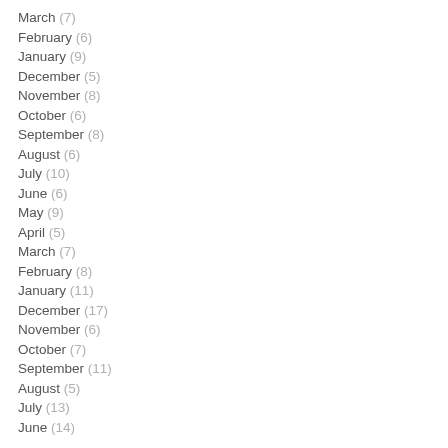March (7)
February (6)
January (9)
December (5)
November (8)
October (6)
September (8)
August (6)
July (10)
June (6)
May (9)
April (5)
March (7)
February (8)
January (11)
December (17)
November (6)
October (7)
September (11)
August (5)
July (13)
June (14)